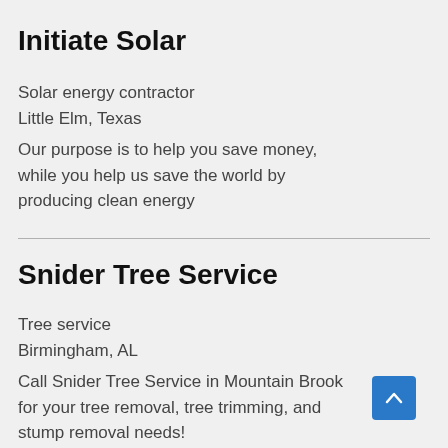Initiate Solar
Solar energy contractor
Little Elm, Texas
Our purpose is to help you save money, while you help us save the world by producing clean energy
Snider Tree Service
Tree service
Birmingham, AL
Call Snider Tree Service in Mountain Brook for your tree removal, tree trimming, and stump removal needs!